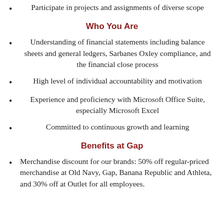Participate in projects and assignments of diverse scope
Who You Are
Understanding of financial statements including balance sheets and general ledgers, Sarbanes Oxley compliance, and the financial close process
High level of individual accountability and motivation
Experience and proficiency with Microsoft Office Suite, especially Microsoft Excel
Committed to continuous growth and learning
Benefits at Gap
Merchandise discount for our brands: 50% off regular-priced merchandise at Old Navy, Gap, Banana Republic and Athleta, and 30% off at Outlet for all employees.